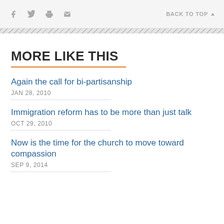f [twitter] [print] [email]   BACK TO TOP ▲
MORE LIKE THIS
Again the call for bi-partisanship
JAN 28, 2010
Immigration reform has to be more than just talk
OCT 29, 2010
Now is the time for the church to move toward compassion
SEP 9, 2014